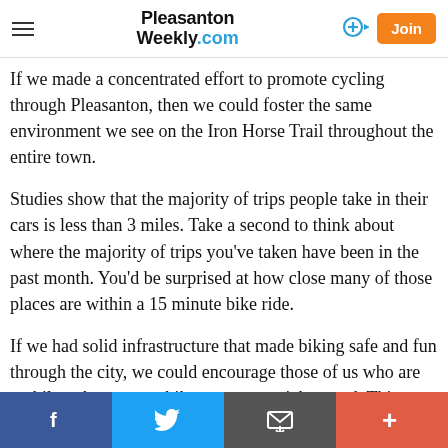Pleasanton Weekly.com
If we made a concentrated effort to promote cycling through Pleasanton, then we could foster the same environment we see on the Iron Horse Trail throughout the entire town.
Studies show that the majority of trips people take in their cars is less than 3 miles. Take a second to think about where the majority of trips you’ve taken have been in the past month. You’d be surprised at how close many of those places are within a 15 minute bike ride.
If we had solid infrastructure that made biking safe and fun through the city, we could encourage those of us who are mobile to hop on our bikes to run a quick errand. This
Facebook  Twitter  Email  More